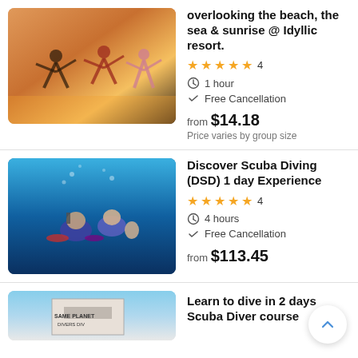[Figure (photo): People doing yoga on a beach at sunset]
overlooking the beach, the sea & sunrise @ Idyllic resort.
★★★★★ 4
1 hour
Free Cancellation
from $14.18
Price varies by group size
[Figure (photo): Two scuba divers underwater, one waving at the camera]
Discover Scuba Diving (DSD) 1 day Experience
★★★★★ 4
4 hours
Free Cancellation
from $113.45
[Figure (photo): Dive boat with Same Planet sign partially visible]
Learn to dive in 2 days Scuba Diver course